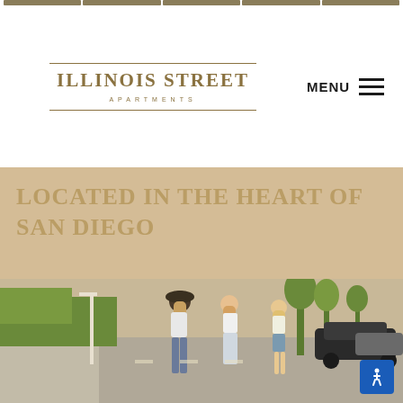Illinois Street Apartments - navigation bar
ILLINOIS STREET
APARTMENTS
MENU
LOCATED IN THE HEART OF SAN DIEGO
[Figure (photo): Street scene with three young women walking/skating down a tree-lined residential street in San Diego. Cars and lush green trees visible in background.]